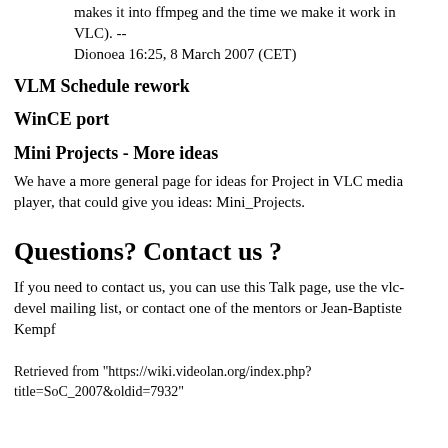makes it into ffmpeg and the time we make it work in VLC). -- Dionoea 16:25, 8 March 2007 (CET)
VLM Schedule rework
WinCE port
Mini Projects - More ideas
We have a more general page for ideas for Project in VLC media player, that could give you ideas: Mini_Projects.
Questions? Contact us ?
If you need to contact us, you can use this Talk page, use the vlc-devel mailing list, or contact one of the mentors or Jean-Baptiste Kempf
Retrieved from "https://wiki.videolan.org/index.php?title=SoC_2007&oldid=7932"